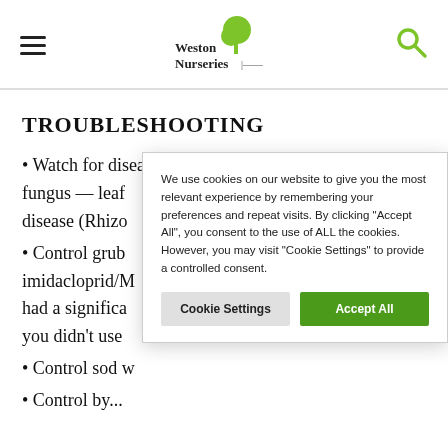Weston Nurseries — navigation header with hamburger menu and search icon
TROUBLESHOOTING
• Watch for disease. Cool wet periods promote fungus — leaf disease (Rhizo...
• Control grub imidacloprid/M had a significa you didn't use
• Control sod w
• Control by...
We use cookies on our website to give you the most relevant experience by remembering your preferences and repeat visits. By clicking "Accept All", you consent to the use of ALL the cookies. However, you may visit "Cookie Settings" to provide a controlled consent.